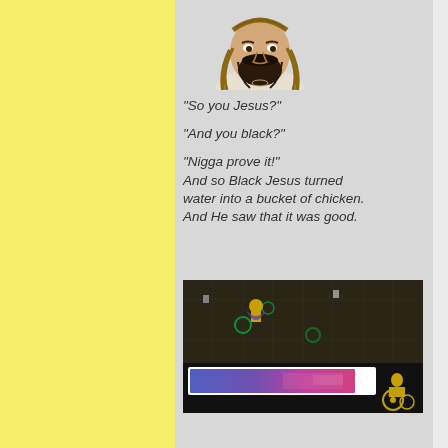[Figure (illustration): Drawing of a bearded man (Jesus figure), head and shoulders, with long hair and dark beard]
"So you Jesus?"

"And you black?"

"Nigga prove it!"
And so Black Jesus turned water into a bucket of chicken. And He saw that it was good.
[Figure (screenshot): Screenshot from a video game (Final Fantasy VII style) showing a character in a top-down view with a progress bar overlaid showing blue/purple to pink gradient, and a cartoon character in a wheelchair in the bottom right]